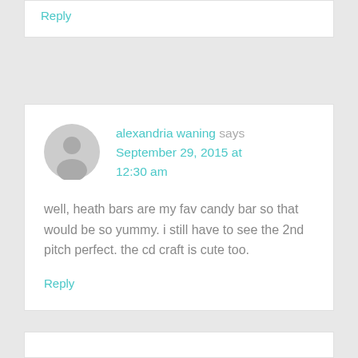Reply
alexandria waning says
September 29, 2015 at 12:30 am
well, heath bars are my fav candy bar so that would be so yummy. i still have to see the 2nd pitch perfect. the cd craft is cute too.
Reply